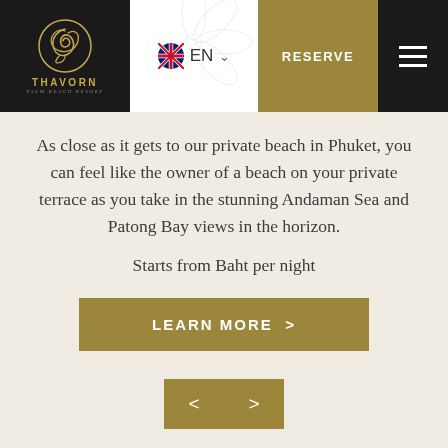[Figure (logo): Thavorn Palm Beach Resort logo - gold dragon emblem on dark background with THAVORN text]
EN  RESERVE
As close as it gets to our private beach in Phuket, you can feel like the owner of a beach on your private terrace as you take in the stunning Andaman Sea and Patong Bay views in the horizon.
Starts from Baht per night
LEARN MORE >
[Figure (other): Navigation arrows left and right in gold buttons]